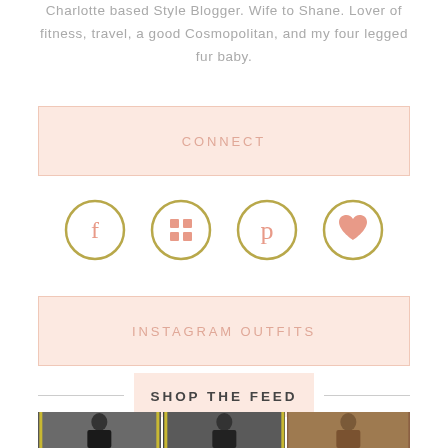Charlotte based Style Blogger. Wife to Shane. Lover of fitness, travel, a good Cosmopolitan, and my four legged fur baby.
CONNECT
[Figure (illustration): Row of four social media icon circles with gold/olive outlines: Facebook (f), Google+/grid icon, Pinterest (p), Heart/Like icon. Icons inside are salmon/coral pink colored.]
INSTAGRAM OUTFITS
SHOP THE FEED
[Figure (photo): Three fashion outfit photos side by side: left shows a woman in a black crop top on a city street, center shows a woman in black on a city street, right shows a woman in a brown leather jacket.]